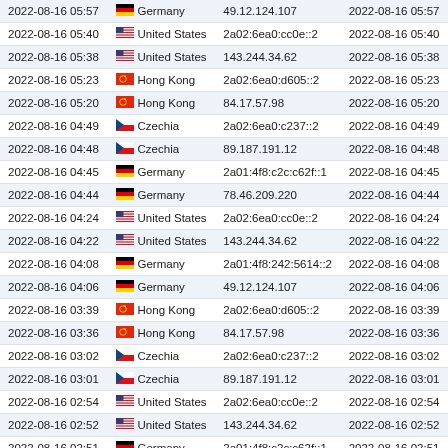| Date/Time | Country | IP Address | Date/Time |
| --- | --- | --- | --- |
| 2022-08-16 05:57 | Germany | 49.12.124.107 | 2022-08-16 05:57 |
| 2022-08-16 05:40 | United States | 2a02:6ea0:cc0e::2 | 2022-08-16 05:40 |
| 2022-08-16 05:38 | United States | 143.244.34.62 | 2022-08-16 05:38 |
| 2022-08-16 05:23 | Hong Kong | 2a02:6ea0:d605::2 | 2022-08-16 05:23 |
| 2022-08-16 05:20 | Hong Kong | 84.17.57.98 | 2022-08-16 05:20 |
| 2022-08-16 04:49 | Czechia | 2a02:6ea0:c237::2 | 2022-08-16 04:49 |
| 2022-08-16 04:48 | Czechia | 89.187.191.12 | 2022-08-16 04:48 |
| 2022-08-16 04:45 | Germany | 2a01:4f8:c2c:c62f::1 | 2022-08-16 04:45 |
| 2022-08-16 04:44 | Germany | 78.46.209.220 | 2022-08-16 04:44 |
| 2022-08-16 04:24 | United States | 2a02:6ea0:cc0e::2 | 2022-08-16 04:24 |
| 2022-08-16 04:22 | United States | 143.244.34.62 | 2022-08-16 04:22 |
| 2022-08-16 04:08 | Germany | 2a01:4f8:242:5614::2 | 2022-08-16 04:08 |
| 2022-08-16 04:06 | Germany | 49.12.124.107 | 2022-08-16 04:06 |
| 2022-08-16 03:39 | Hong Kong | 2a02:6ea0:d605::2 | 2022-08-16 03:39 |
| 2022-08-16 03:36 | Hong Kong | 84.17.57.98 | 2022-08-16 03:36 |
| 2022-08-16 03:02 | Czechia | 2a02:6ea0:c237::2 | 2022-08-16 03:02 |
| 2022-08-16 03:01 | Czechia | 89.187.191.12 | 2022-08-16 03:01 |
| 2022-08-16 02:54 | United States | 2a02:6ea0:cc0e::2 | 2022-08-16 02:54 |
| 2022-08-16 02:52 | United States | 143.244.34.62 | 2022-08-16 02:52 |
| 2022-08-16 02:51 | Germany | 2a01:4f8:c2c:c62f::1 | 2022-08-16 02:51 |